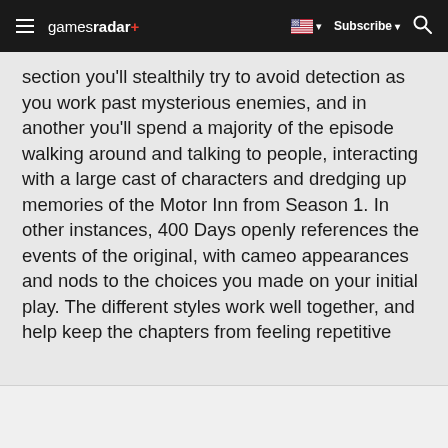gamesradar+  Subscribe
section you'll stealthily try to avoid detection as you work past mysterious enemies, and in another you'll spend a majority of the episode walking around and talking to people, interacting with a large cast of characters and dredging up memories of the Motor Inn from Season 1. In other instances, 400 Days openly references the events of the original, with cameo appearances and nods to the choices you made on your initial play. The different styles work well together, and help keep the chapters from feeling repetitive